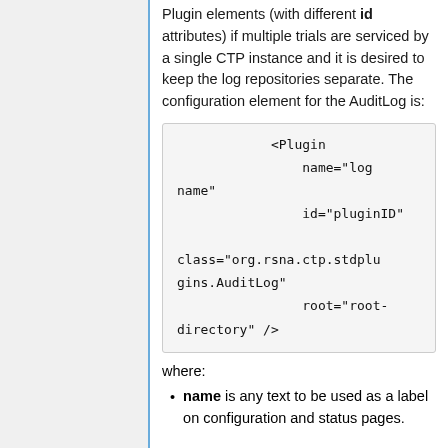Plugin elements (with different id attributes) if multiple trials are serviced by a single CTP instance and it is desired to keep the log repositories separate. The configuration element for the AuditLog is:
where:
name is any text to be used as a label on configuration and status pages.